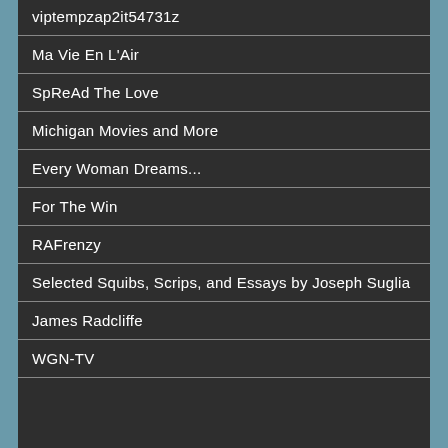viptempzap2it54731z
Ma Vie En L'Air
SpReAd The Love
Michigan Movies and More
Every Woman Dreams...
For The Win
RAFrenzy
Selected Squibs, Scrips, and Essays by Joseph Suglia
James Radcliffe
WGN-TV